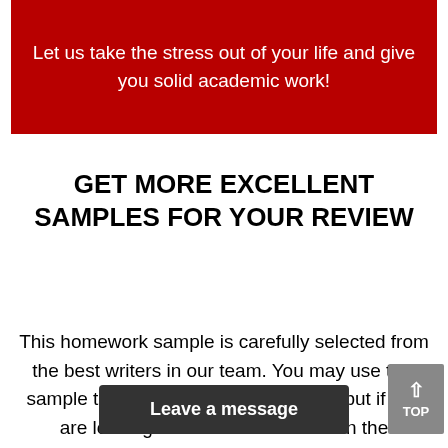Let us take the stress out of your life and give you solid academic work!
GET MORE EXCELLENT SAMPLES FOR YOUR REVIEW
This homework sample is carefully selected from the best writers in our team. You may use this sample to write your own assignment but if you are looking for a homework on the order…